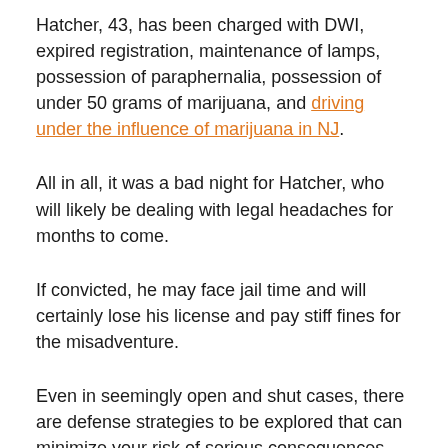Hatcher, 43, has been charged with DWI, expired registration, maintenance of lamps, possession of paraphernalia, possession of under 50 grams of marijuana, and driving under the influence of marijuana in NJ.
All in all, it was a bad night for Hatcher, who will likely be dealing with legal headaches for months to come.
If convicted, he may face jail time and will certainly lose his license and pay stiff fines for the misadventure.
Even in seemingly open and shut cases, there are defense strategies to be explored that can minimize your risk of serious consequences stemming from a traffic stop.